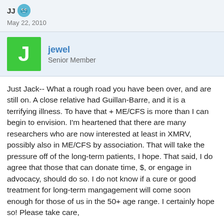JJ
May 22, 2010
jewel
Senior Member
Just Jack-- What a rough road you have been over, and are still on. A close relative had Guillan-Barre, and it is a terrifying illness. To have that + ME/CFS is more than I can begin to envision. I'm heartened that there are many researchers who are now interested at least in XMRV, possibly also in ME/CFS by association. That will take the pressure off of the long-term patients, I hope. That said, I do agree that those that can donate time, $, or engage in advocacy, should do so. I do not know if a cure or good treatment for long-term mangagement will come soon enough for those of us in the 50+ age range. I certainly hope so! Please take care,